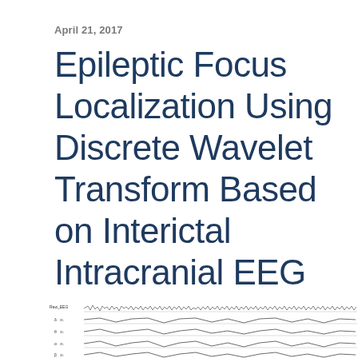April 21, 2017
Epileptic Focus Localization Using Discrete Wavelet Transform Based on Interictal Intracranial EEG
[Figure (continuous-plot): EEG waveform plots showing multiple channels of intracranial EEG recordings. The top row is labeled 'Raw_EEG' and shows a dense high-frequency signal. Below are several rows labeled with channel indicators (e.g., 'δ', 'θ') showing filtered waveforms at different frequency bands, each with time on the x-axis.]